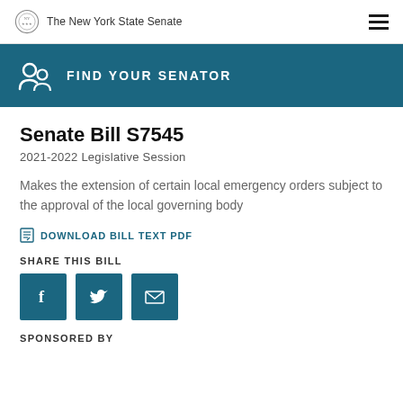The New York State Senate
FIND YOUR SENATOR
Senate Bill S7545
2021-2022 Legislative Session
Makes the extension of certain local emergency orders subject to the approval of the local governing body
DOWNLOAD BILL TEXT PDF
SHARE THIS BILL
SPONSORED BY